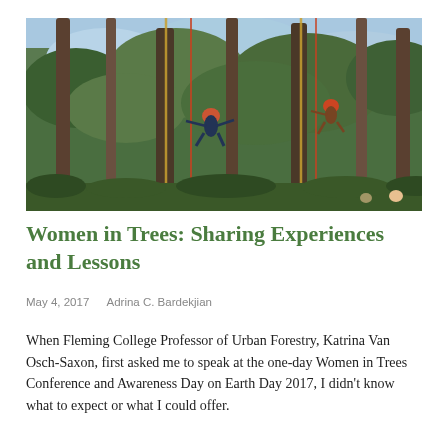[Figure (photo): People climbing tall trees in a forest setting, suspended by ropes, with tall bare and evergreen trees visible against a blue sky.]
Women in Trees: Sharing Experiences and Lessons
May 4, 2017   Adrina C. Bardekjian
When Fleming College Professor of Urban Forestry, Katrina Van Osch-Saxon, first asked me to speak at the one-day Women in Trees Conference and Awareness Day on Earth Day 2017, I didn't know what to expect or what I could offer.